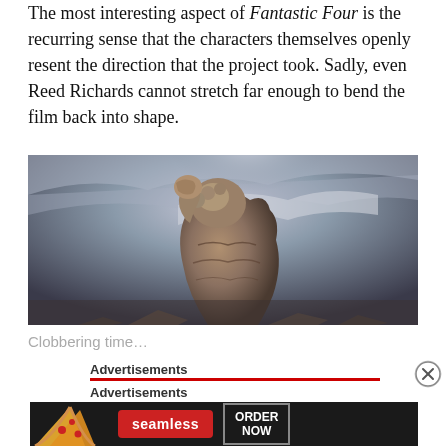The most interesting aspect of Fantastic Four is the recurring sense that the characters themselves openly resent the direction that the project took. Sadly, even Reed Richards cannot stretch far enough to bend the film back into shape.
[Figure (photo): A rocky, textured humanoid figure (The Thing from Fantastic Four) shown from below against a dramatic stormy sky with light breaking through clouds.]
Clobbering time…
Advertisements
Advertisements
[Figure (screenshot): Advertisement banner for Seamless food ordering service showing pizza slices on the left, a red Seamless logo button in the center, and an ORDER NOW button on the right, all on a dark background.]